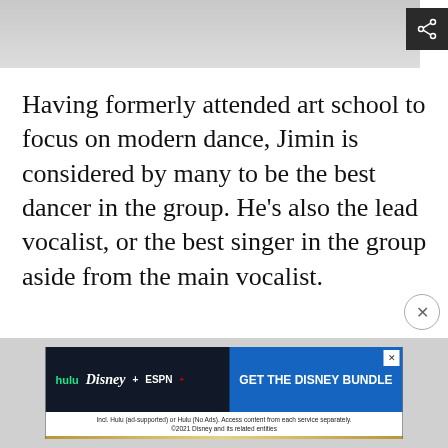[Figure (photo): Partial photo of a person wearing white clothing, top portion cropped]
Having formerly attended art school to focus on modern dance, Jimin is considered by many to be the best dancer in the group. He's also the lead vocalist, or the best singer in the group aside from the main vocalist.
[Figure (infographic): Disney Bundle advertisement showing Hulu, Disney+, and ESPN+ logos with 'GET THE DISNEY BUNDLE' call to action and fine print text]